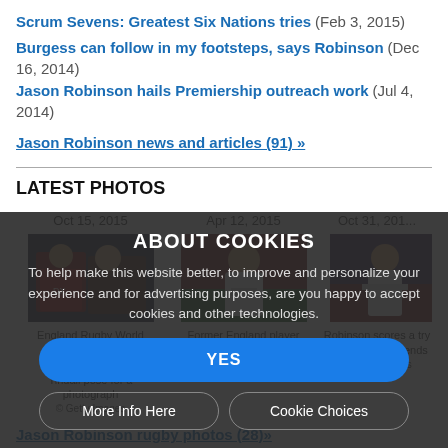Scrum Sevens: Greatest Six Nations tries (Feb 3, 2015)
Burgess can follow in my footsteps, says Robinson (Dec 16, 2014)
Jason Robinson hails Premiership outreach work (Jul 4, 2014)
Jason Robinson news and articles (91) »
LATEST PHOTOS
[Figure (photo): Oct 15, 2015 - England Rugby World Cup winners Jason Robinson and Mike Tindall pose for a photograph. © Getty Images]
[Figure (photo): Apr 12, 2015 - Former England player Jason Robinson in action at Charity Football match. © Getty Images]
[Figure (photo): Oct 31, 201... - Robinson scores a try for England Legends. © Getty Images]
Jason Robinson rugby photos (28)»
ABOUT COOKIES
To help make this website better, to improve and personalize your experience and for advertising purposes, are you happy to accept cookies and other technologies.
YES
More Info Here   Cookie Choices